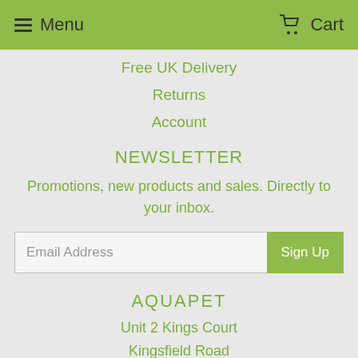Menu  Cart
Free UK Delivery
Returns
Account
NEWSLETTER
Promotions, new products and sales. Directly to your inbox.
Email Address  Sign Up
AQUAPET
Unit 2 Kings Court
Kingsfield Road
Barwell